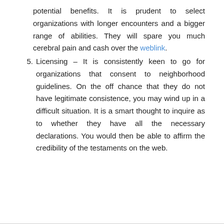potential benefits. It is prudent to select organizations with longer encounters and a bigger range of abilities. They will spare you much cerebral pain and cash over the weblink.
5. Licensing – It is consistently keen to go for organizations that consent to neighborhood guidelines. On the off chance that they do not have legitimate consistence, you may wind up in a difficult situation. It is a smart thought to inquire as to whether they have all the necessary declarations. You would then be able to affirm the credibility of the testaments on the web.